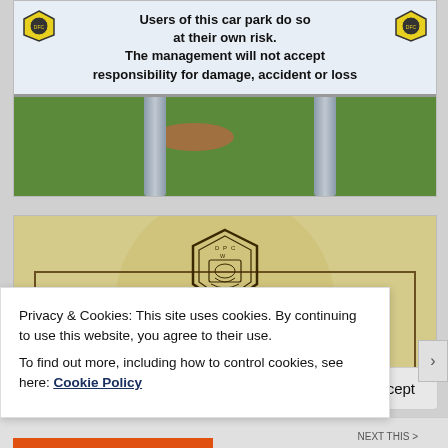[Figure (photo): Photo of a car park sign on two metal posts. Sign reads: 'Users of this car park do so at their own risk. The management will not accept responsibility for damage, accident or loss'. The sign has two yellow/black club badges (DFC crests) on either side. Background shows green grass, a dirt patch, and a red car on the right.]
[Figure (photo): Photo of a yellowed/cream-coloured sign or plaque featuring a DPC (Dunfermline/Dundee?) club badge at the top centre, an inner rectangular border, and text reading 'Ladbrokes League One' at the bottom.]
Privacy & Cookies: This site uses cookies. By continuing to use this website, you agree to their use.
To find out more, including how to control cookies, see here: Cookie Policy
Close and accept